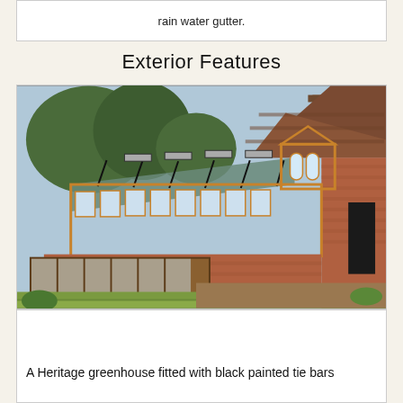rain water gutter.
Exterior Features
[Figure (photo): A Heritage greenhouse with black painted tie bars fitted against a brick wall, featuring wooden framing, glass roof panels, and cold frames in front, photographed outdoors next to a brick building.]
A Heritage greenhouse fitted with black painted tie bars